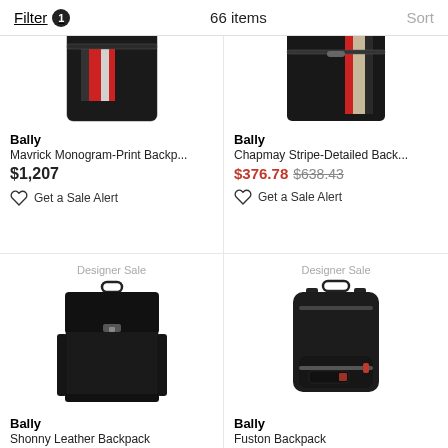Filter 1   66 items   Sort
[Figure (photo): Bally Mavrick Monogram-Print Backpack, black with red/white stripe, partially cropped top]
Bally
Mavrick Monogram-Print Backp...
$1,207
Get a Sale Alert
[Figure (photo): Bally Chapmay Stripe-Detailed Backpack, black with red/beige stripe, partially cropped top]
Bally
Chapmay Stripe-Detailed Back...
$376.78  $638.43
Get a Sale Alert
Designer Sale
[Figure (photo): Bally Shonny Leather Backpack, black structured leather backpack with top handle and clasp]
Bally
Shonny Leather Backpack
$3,655
Designer Sale
[Figure (photo): Bally Fuston Backpack, black nylon backpack with top handle and red accent zipper]
Bally
Fuston Backpack
$799